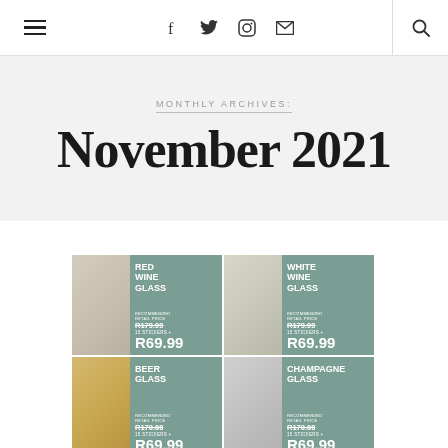≡  f  t  ⚙  ✉  🔍
MONTHLY ARCHIVES:
November 2021
[Figure (infographic): Product promotional grid showing glassware items: Red Wine Glass (RRP R179.99 struck through, 15 Stickers + R69.99), White Wine Glass (RRP R179.99 struck through, 15 Stickers + R69.99), Beer Glass (RRP R170.00 struck through, 15 Stickers + R69.99), Champagne Glass (RRP R170.00 struck through, 15 Stickers + R69.99), Bamboo Serving Board (partial), Wine Sleeve (partial). Each cell shows a photo of the product on the left and teal/green info panel on the right.]